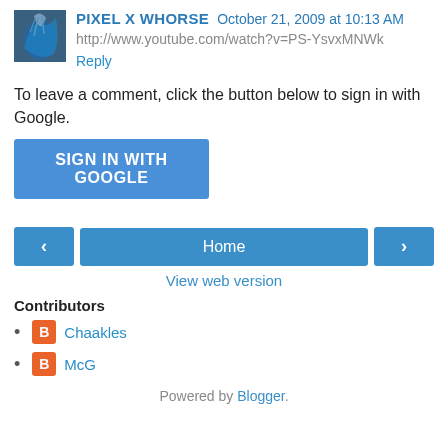PIXEL X WHORSE  October 21, 2009 at 10:13 AM
http://www.youtube.com/watch?v=PS-YsvxMNWk
Reply
To leave a comment, click the button below to sign in with Google.
SIGN IN WITH GOOGLE
Home
View web version
Contributors
Chaakles
McG
Powered by Blogger.